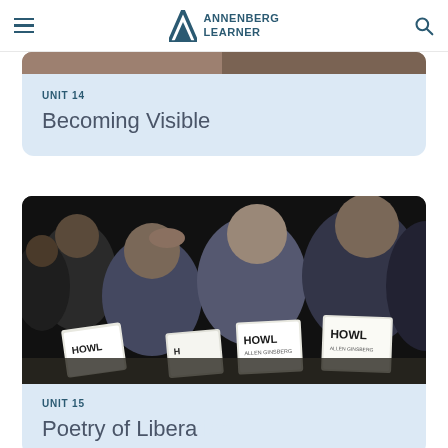Annenberg Learner
[Figure (photo): Cropped bottom portion of a photo above Unit 14 card]
UNIT 14
Becoming Visible
[Figure (photo): Group of men with shaved heads sitting and reading booklets titled HOWL, heads bowed in concentration, in a dimly lit room]
UNIT 15
Poetry of Liberation